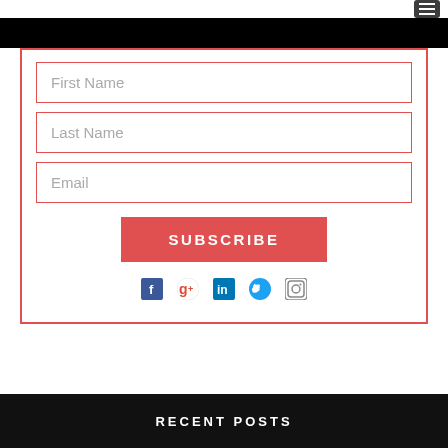[Figure (screenshot): Navigation hamburger menu icon in dark grey/black rounded rectangle in top right corner]
[Figure (infographic): Subscription form with fields for First Name, Last Name, Email, a red SUBSCRIBE button, and social media icons (Facebook, Google+, LinkedIn, Twitter, Instagram)]
RECENT POSTS